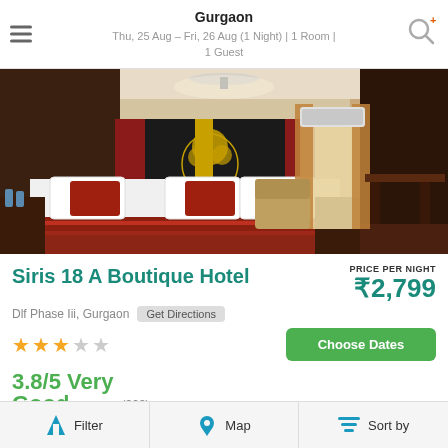Gurgaon
Thu, 25 Aug – Fri, 26 Aug (1 Night) | 1 Room | 1 Guest
[Figure (photo): Hotel room interior with dark wood decor, decorative tree wall art, bed with red and white bedding, armchair, curtains, AC unit, and wooden furniture]
Siris 18 A Boutique Hotel
PRICE PER NIGHT
₹2,799
Dlf Phase Iii, Gurgaon  Get Directions
★★★☆☆
Choose Dates
3.8/5 Very Good
(303)
3 Rooms Left
Filter   Map   Sort by